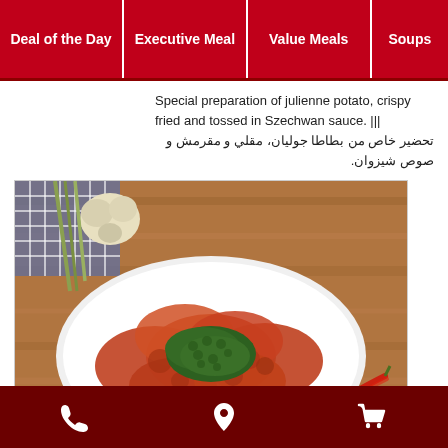Deal of the Day | Executive Meal | Value Meals | Soups
Special preparation of julienne potato, crispy fried and tossed in Szechwan sauce. ||| من تحضير خاص بطاطا جوليان، مقلي و مقرمش و صوص شيزوان.
[Figure (photo): Overhead shot of a white oval plate with crispy fried julienne potato pieces coated in Szechwan sauce, topped with green herbs, on a rustic wooden surface with red chilies and garlic in background.]
Phone | Location | Cart